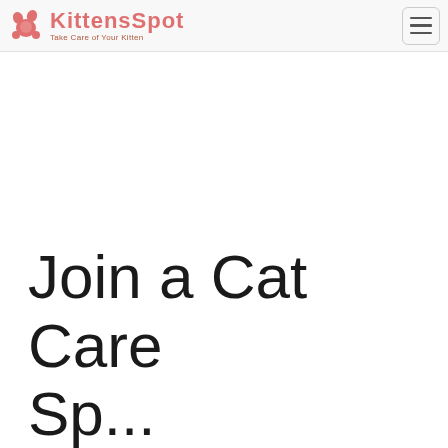KittensSpot - Take Care of Your Kitten
Join a Cat Care Sp...